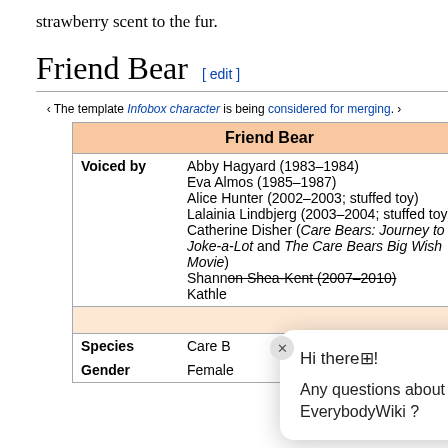strawberry scent to the fur.
Friend Bear [ edit ]
‹ The template Infobox character is being considered for merging. ›
| Friend Bear |
| --- |
| Voiced by | Abby Hagyard (1983–1984)
Eva Almos (1985–1987)
Alice Hunter (2002–2003; stuffed toy)
Lalainia Lindbjerg (2003–2004; stuffed toy)
Catherine Disher (Care Bears: Journey to Joke-a-Lot and The Care Bears Big Wish Movie)
Shannon Shea-Kent (2007–2010)
Kathle... |
|  |  |
| Species | Care B... |
| Gender | Female |
Hi there! Any questions about EverybodyWiki ?